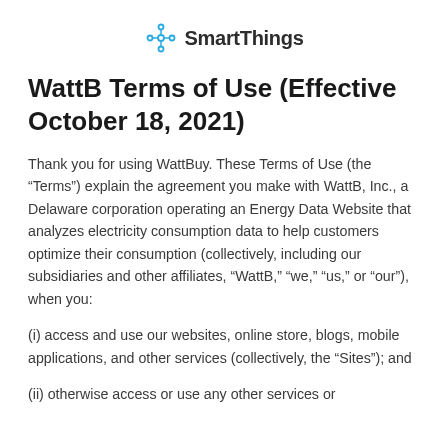SmartThings
WattB Terms of Use (Effective October 18, 2021)
Thank you for using WattBuy. These Terms of Use (the “Terms”) explain the agreement you make with WattB, Inc., a Delaware corporation operating an Energy Data Website that analyzes electricity consumption data to help customers optimize their consumption (collectively, including our subsidiaries and other affiliates, “WattB,” “we,” “us,” or “our”), when you:
(i) access and use our websites, online store, blogs, mobile applications, and other services (collectively, the “Sites”); and
(ii) otherwise access or use any other services or